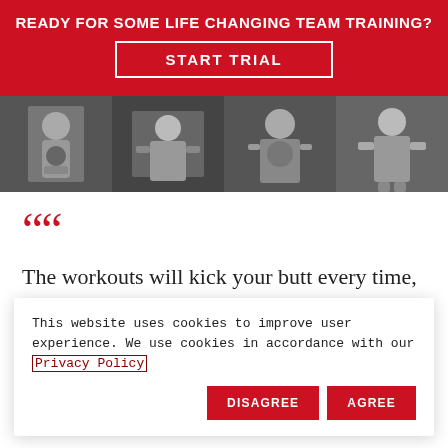READY FOR SOME LIFE CHANGING TEAM TRAINING?
START TRIAL
[Figure (photo): Four black and white photos of people exercising in a gym setting]
““
The workouts will kick your butt every time, plus they can be modified for beginners and those with more
This website uses cookies to improve user experience. We use cookies in accordance with our Privacy Policy
DISAGREE
AGREE